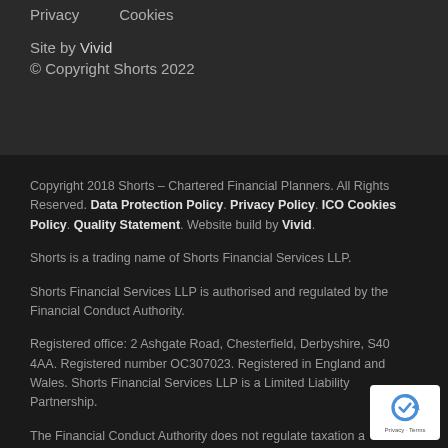Privacy   Cookies
Site by Vivid
© Copyright Shorts 2022
Copyright 2018 Shorts – Chartered Financial Planners. All Rights Reserved. Data Protection Policy. Privacy Policy. ICO Cookies Policy. Quality Statement. Website build by Vivid.
Shorts is a trading name of Shorts Financial Services LLP.
Shorts Financial Services LLP is authorised and regulated by the Financial Conduct Authority.
Registered office: 2 Ashgate Road, Chesterfield, Derbyshire, S40 4AA. Registered number OC307023. Registered in England and Wales. Shorts Financial Services LLP is a Limited Liability Partnership.
The Financial Conduct Authority does not regulate taxation a... some forms of auto-enrolment, commercial finance advice, e... planning, will writing and trust advice. Levels and bases of, and
[Figure (other): reCAPTCHA badge with Privacy - Terms label]